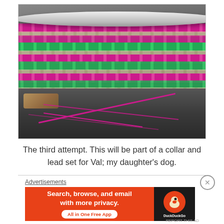[Figure (photo): A close-up photo of a colorful woven/braided craft band in magenta, green, and cream colors, attached to a white cylindrical rod/tube at the top. A wooden shuttle and pink thread are visible in the background against a dark surface.]
The third attempt. This will be part of a collar and lead set for Val; my daughter’s dog.
Advertisements